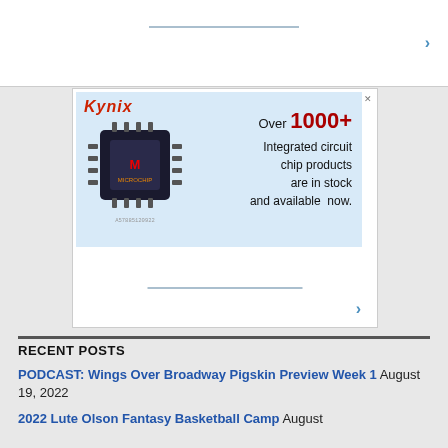[Figure (screenshot): Top carousel/navigation area with a horizontal blue line and right-pointing blue arrow]
[Figure (screenshot): Kynix advertisement banner featuring a Microchip brand IC chip image, red Kynix logo, and text reading Over 1000+ Integrated circuit chip products are in stock and available now.]
RECENT POSTS
PODCAST: Wings Over Broadway Pigskin Preview Week 1 August 19, 2022
2022 Lute Olson Fantasy Basketball Camp August